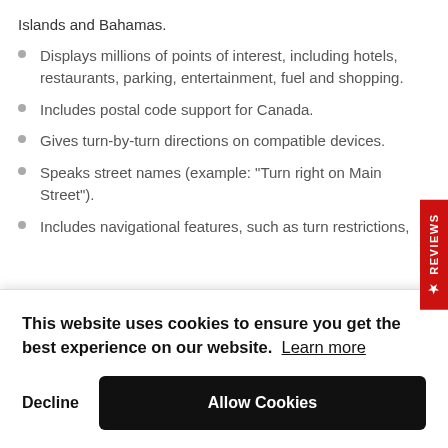Islands and Bahamas.
Displays millions of points of interest, including hotels, restaurants, parking, entertainment, fuel and shopping.
Includes postal code support for Canada.
Gives turn-by-turn directions on compatible devices.
Speaks street names (example: "Turn right on Main Street").
Includes navigational features, such as turn restrictions,
This website uses cookies to ensure you get the best experience on our website. Learn more
Decline  Allow Cookies